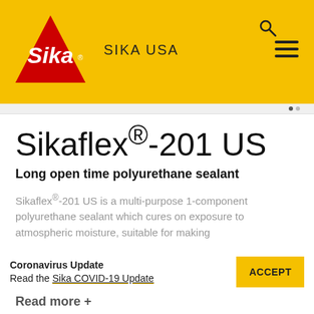[Figure (logo): Sika logo: red triangle with white Sika script on yellow background header, with SIKA USA text, search icon, and hamburger menu]
Sikaflex®-201 US
Long open time polyurethane sealant
Sikaflex®-201 US is a multi-purpose 1-component polyurethane sealant which cures on exposure to atmospheric moisture, suitable for making
Coronavirus Update
Read the Sika COVID-19 Update
Read more +